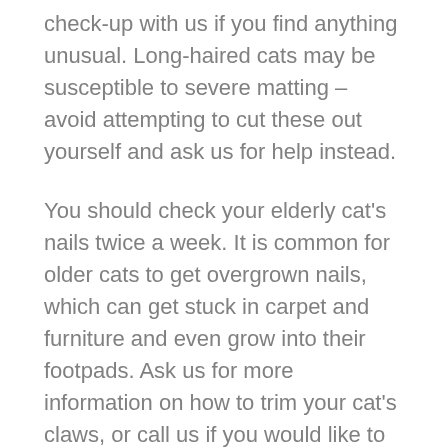check-up with us if you find anything unusual. Long-haired cats may be susceptible to severe matting – avoid attempting to cut these out yourself and ask us for help instead.
You should check your elderly cat's nails twice a week. It is common for older cats to get overgrown nails, which can get stuck in carpet and furniture and even grow into their footpads. Ask us for more information on how to trim your cat's claws, or call us if you would like to book in a nail trim.
We are always here to give you the best advice when it comes to the care of your geriatric pet, so please get in touch with us if you have any concerns.